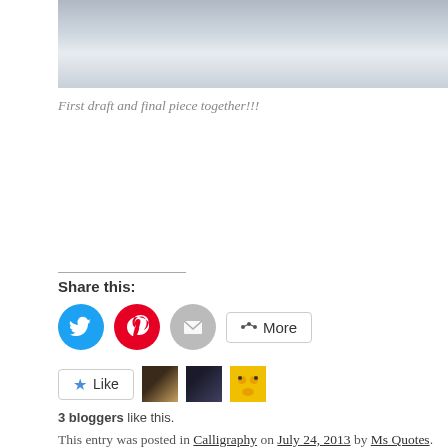[Figure (photo): Top portion of a photo showing lined/grid paper, partially visible]
First draft and final piece together!!!
Share this:
[Figure (infographic): Social share buttons: Twitter (blue circle), Pinterest (red circle), Email (grey circle), More button]
[Figure (infographic): Like button with star icon, followed by three blogger avatar thumbnails]
3 bloggers like this.
This entry was posted in Calligraphy on July 24, 2013 by Ms Quotes.